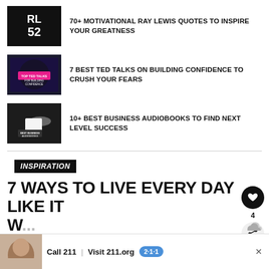[Figure (illustration): Dark image with RL 52 text (Ray Lewis jersey number)]
70+ MOTIVATIONAL RAY LEWIS QUOTES TO INSPIRE YOUR GREATNESS
[Figure (illustration): Dark image with pink text: TOP TED TALKS FOR BUILDING CONFIDENCE]
7 BEST TED TALKS ON BUILDING CONFIDENCE TO CRUSH YOUR FEARS
[Figure (illustration): Dark image with headphones and text: BEST BUSINESS AUDIOBOOKS]
10+ BEST BUSINESS AUDIOBOOKS TO FIND NEXT LEVEL SUCCESS
INSPIRATION
7 WAYS TO LIVE EVERY DAY LIKE IT W...
[Figure (photo): Advertisement banner: Call 211 | Visit 211.org with 2-1-1 logo]